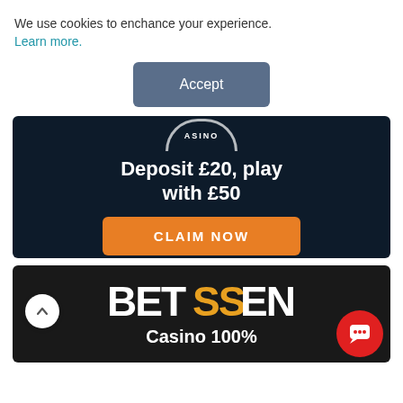We use cookies to enchance your experience. Learn more.
[Figure (screenshot): Accept button for cookie consent]
[Figure (infographic): Casino ad: Deposit £20, play with £50 with CLAIM NOW button]
[Figure (infographic): Betssen casino ad: Casino 100% with logo]